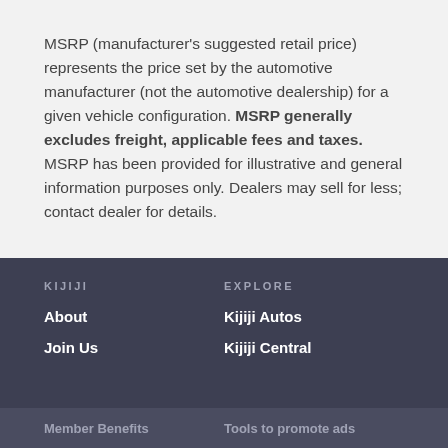MSRP (manufacturer's suggested retail price) represents the price set by the automotive manufacturer (not the automotive dealership) for a given vehicle configuration. MSRP generally excludes freight, applicable fees and taxes. MSRP has been provided for illustrative and general information purposes only. Dealers may sell for less; contact dealer for details.
KIJIJI | EXPLORE | About | Kijiji Autos | Join Us | Kijiji Central | Member Benefits | Tools to promote ads